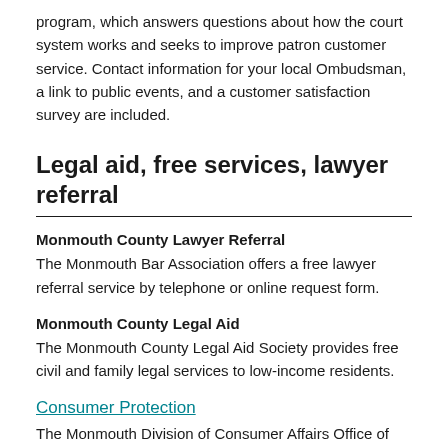program, which answers questions about how the court system works and seeks to improve patron customer service. Contact information for your local Ombudsman, a link to public events, and a customer satisfaction survey are included.
Legal aid, free services, lawyer referral
Monmouth County Lawyer Referral
The Monmouth Bar Association offers a free lawyer referral service by telephone or online request form.
Monmouth County Legal Aid
The Monmouth County Legal Aid Society provides free civil and family legal services to low-income residents.
Consumer Protection
The Monmouth Division of Consumer Affairs Office of